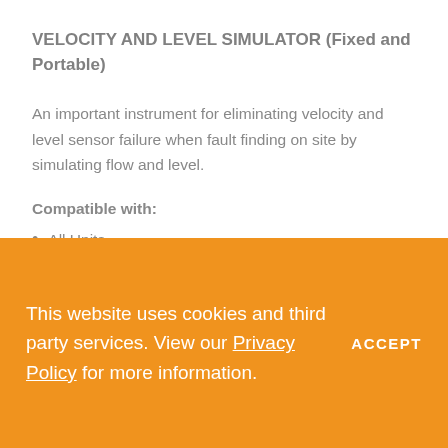VELOCITY AND LEVEL SIMULATOR (Fixed and Portable)
An important instrument for eliminating velocity and level sensor failure when fault finding on site by simulating flow and level.
Compatible with:
All Units
This website uses cookies and third party services. View our Privacy Policy for more information.
ACCEPT